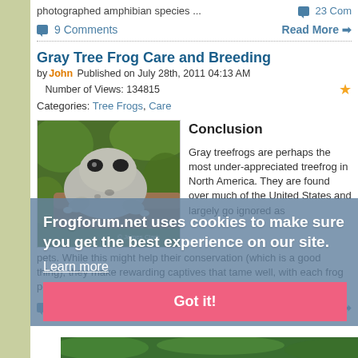photographed amphibian species ...
💬 23 Com
💬 9 Comments   Read More ➡
Gray Tree Frog Care and Breeding
by John Published on July 28th, 2011 04:13 AM   Number of Views: 134815 ★
Categories: Tree Frogs, Care
[Figure (photo): Gray tree frog sitting on a branch]
Conclusion
Gray treefrogs are perhaps the most under-appreciated treefrog in North America. They are found over much of the United States and largely go ignored as pets. While this might help their conservation (which is a good thing), they make rewarding captives that tame well, with each frog possessing its own personality.
💬 22 Comments   Read More ➡
Frogforum.net uses cookies to make sure you get the best experience on our site. Learn more  [Got it!]